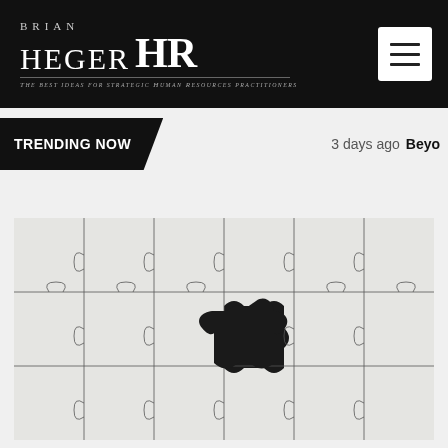BRIAN HEGER HR – The best ideas for strategic Human Resources practitioners
TRENDING NOW   3 days ago  Beyor
[Figure (photo): Close-up photo of white jigsaw puzzle pieces with one missing piece revealing a black background underneath, arranged in a flat lay pattern.]